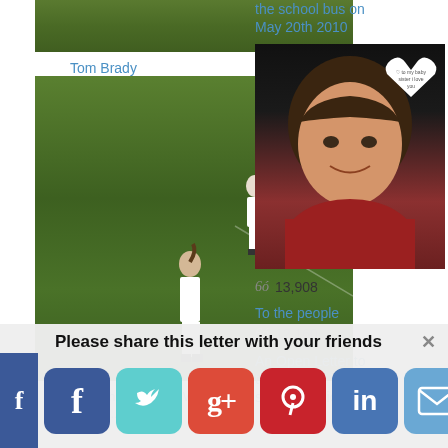[Figure (photo): Soccer/football match photo - players on green field, top cropped view]
Tom Brady
[Figure (photo): Women's soccer/college football players on green field in white uniforms]
To All the Incoming Women College...
the school bus on May 20th 2010
[Figure (photo): Portrait of a young woman with brown hair wearing red, with a white heart overlay containing text]
13,908
To the people
12,160
An Open Letter to the Woman Who Said Us a Sick...
Please share this letter with your friends
[Figure (screenshot): Social sharing buttons: Facebook (small left), Facebook, Twitter/Pinterest, Google+, Pinterest, LinkedIn, Email/Mail]